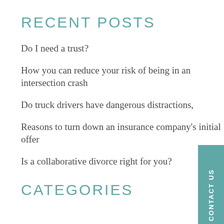RECENT POSTS
Do I need a trust?
How you can reduce your risk of being in an intersection crash
Do truck drivers have dangerous distractions,
Reasons to turn down an insurance company's initial offer
Is a collaborative divorce right for you?
CATEGORIES